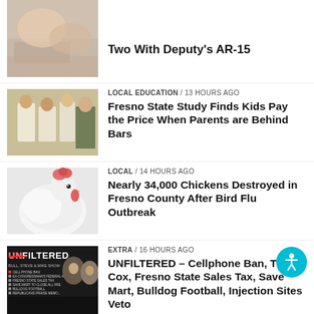[Figure (photo): Partial top news item thumbnail - blurred/cropped image]
Two With Deputy's AR-15
[Figure (photo): People in white shirts, hands behind backs, law enforcement context]
LOCAL EDUCATION / 13 hours ago
Fresno State Study Finds Kids Pay the Price When Parents are Behind Bars
[Figure (photo): White chicken/bird close-up photo]
LOCAL / 14 hours ago
Nearly 34,000 Chickens Destroyed in Fresno County After Bird Flu Outbreak
[Figure (photo): UNFILTERED show graphic with text and host photos]
EXTRA / 16 hours ago
UNFILTERED – Cellphone Ban, TJ Cox, Fresno State Sales Tax, Save Mart, Bulldog Football, Injection Sites Veto
[Figure (photo): American flag and vote-by-mail envelope]
POLITICS / 16 hours ago
California Dems Consider Retooling Local Recall Rules Over ‘Hyperpartisanship’
[Figure (photo): Partial bottom thumbnail]
HEALTHCARE / 16 hours ago